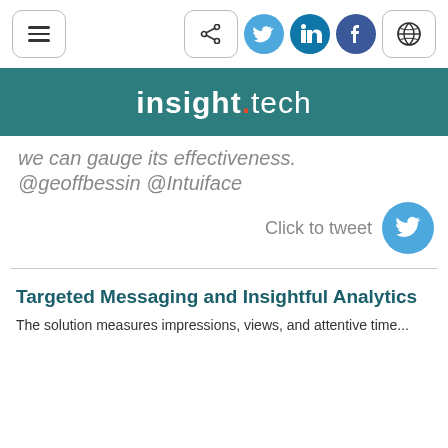[Figure (screenshot): Navigation bar with hamburger menu button on the left, and share button, Twitter, LinkedIn, Facebook social icons, and globe button on the right]
[Figure (logo): insight.tech logo on teal background banner]
we can gauge its effectiveness. @geoffbessin @Intuiface
Click to tweet
Targeted Messaging and Insightful Analytics
The solution measures impressions, views, and attentive time...